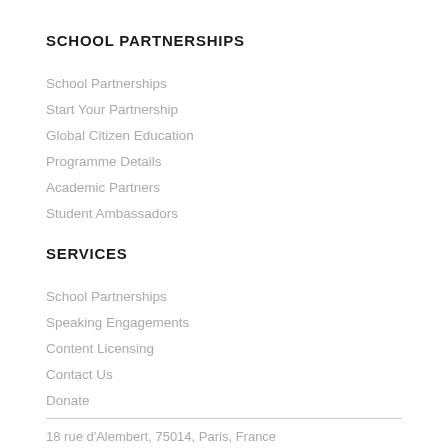SCHOOL PARTNERSHIPS
School Partnerships
Start Your Partnership
Global Citizen Education
Programme Details
Academic Partners
Student Ambassadors
SERVICES
School Partnerships
Speaking Engagements
Content Licensing
Contact Us
Donate
18 rue d'Alembert, 75014, Paris, France